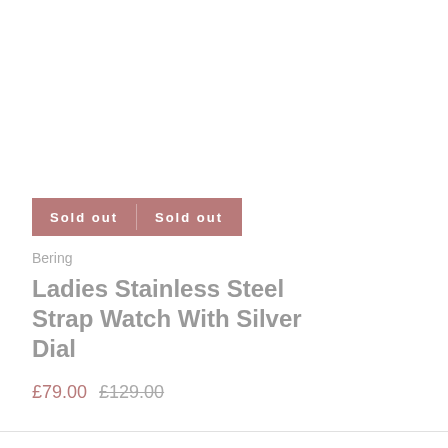[Figure (other): Two 'Sold out' buttons rendered in a muted rose/mauve color bar]
Bering
Ladies Stainless Steel Strap Watch With Silver Dial
£79.00 £129.00
CONTACT US
Dunbar The Jewellers -39 Mill Street , Alloa ,